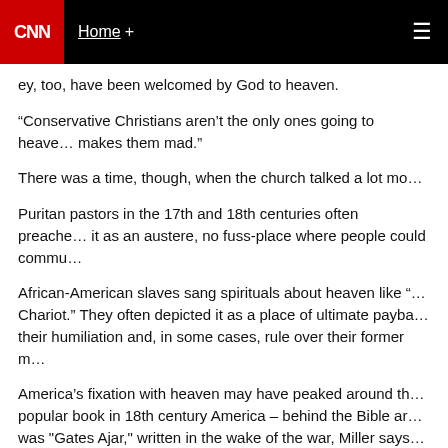CNN | Home +
ey, too, have been welcomed by God to heaven.
“Conservative Christians aren’t the only ones going to heaven, and it makes them mad.”
There was a time, though, when the church talked a lot more about hell.
Puritan pastors in the 17th and 18th centuries often preached about it as an austere, no fuss-place where people could commune with God.
African-American slaves sang spirituals about heaven like “Swing Low Sweet Chariot.” They often depicted it as a place of ultimate payback, erasing their humiliation and, in some cases, rule over their former masters.
America’s fixation with heaven may have peaked around the Civil War. The most popular book in 18th century America – behind the Bible and Uncle Tom’s Cabin – was "Gates Ajar," written in the wake of the war, Miller says.
The 1868 novel was “The Da Vinci Code” of its day, Miller says. It features a grieving woman who lost her brother in the Civil War. A sympathetic aunt tells her that her brother is waiting in heaven, a bucolic paradise wh…